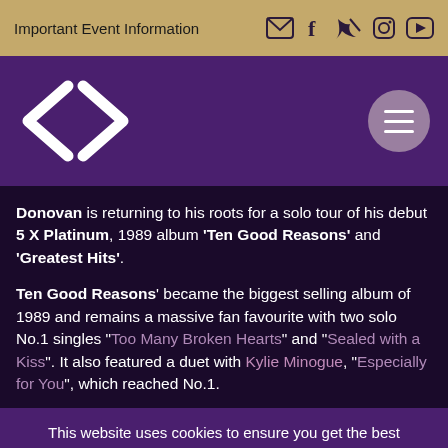Important Event Information
[Figure (logo): Stylized '3C' logo in white on purple background, with hamburger menu button]
Donovan is returning to his roots for a solo tour of his debut 5 X Platinum, 1989 album 'Ten Good Reasons' and 'Greatest Hits'.
Ten Good Reasons' became the biggest selling album of 1989 and remains a massive fan favourite with two solo No.1 singles "Too Many Broken Hearts" and "Sealed with a Kiss". It also featured a duet with Kylie Minogue, "Especially for You", which reached No.1.
This website uses cookies to ensure you get the best experience on our website. Learn more